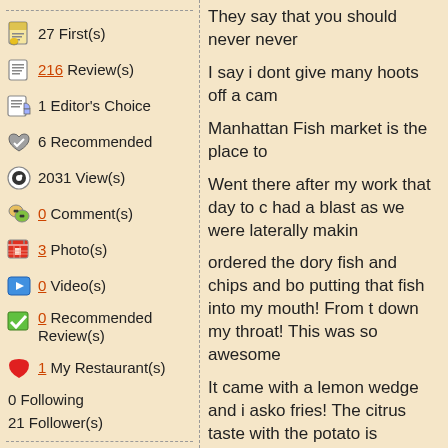27 First(s)
216 Review(s)
1 Editor's Choice
6 Recommended
2031 View(s)
0 Comment(s)
3 Photo(s)
0 Video(s)
0 Recommended Review(s)
1 My Restaurant(s)
0 Following
21 Follower(s)
They say that you should never never
I say i dont give many hoots off a cam
Manhattan Fish market is the place to
Went there after my work that day to c had a blast as we were laterally makin
ordered the dory fish and chips and bo putting that fish into my mouth! From t down my throat! This was so awesome
It came with a lemon wedge and i asko fries! The citrus taste with the potato is AWWWWWWEEEESOMEE!!!!
SO moving on, i ordered the set meal the citrus drink that was pretty pretty g is served hot! HOT I MEAN HOT!!!
Service was ok because it ws really cr
Ambience pretty noisy but i guess that like!!